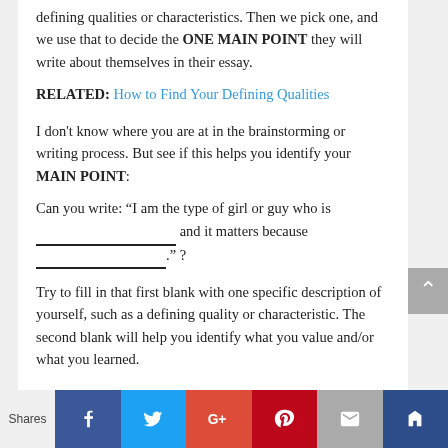defining qualities or characteristics. Then we pick one, and we use that to decide the ONE MAIN POINT they will write about themselves in their essay.
RELATED: How to Find Your Defining Qualities
I don't know where you are at in the brainstorming or writing process. But see if this helps you identify your MAIN POINT:
Can you write: “I am the type of girl or guy who is __________________ and it matters because __________________.” ?
Try to fill in that first blank with one specific description of yourself, such as a defining quality or characteristic. The second blank will help you identify what you value and/or what you learned.
Shares | Facebook | Twitter | Google+ | Pinterest | Email | Crown